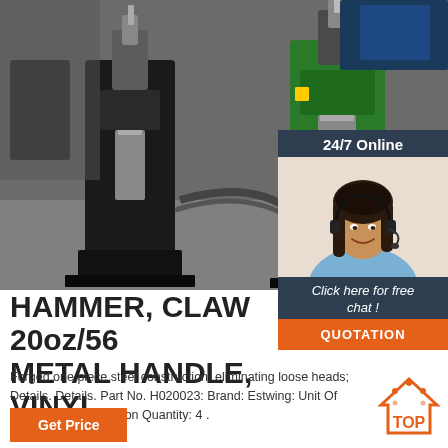[Figure (photo): Industrial factory machines - two large black and green hydraulic press or hammer machines in a workshop setting]
[Figure (photo): 24/7 Online customer service panel showing a smiling woman with headset, with 'Click here for free chat!' text and QUOTATION button]
HAMMER, CLAW 20oz/567 METAL HANDLE, VINYL
Forged one piece steel construction, eliminating loose heads; Details. Details. Part No. H020023: Brand: Estwing: Unit Of Measure: Each: Carton Quantity: 4 .
[Figure (logo): TOP logo - orange triangle/house shape with dots and TOP text in orange]
Get Price